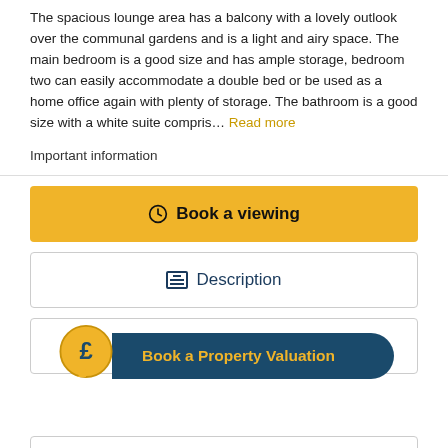The spacious lounge area has a balcony with a lovely outlook over the communal gardens and is a light and airy space. The main bedroom is a good size and has ample storage, bedroom two can easily accommodate a double bed or be used as a home office again with plenty of storage. The bathroom is a good size with a white suite compris… Read more
Important information
Book a viewing
Description
Floorplan
Book a Property Valuation
Photos